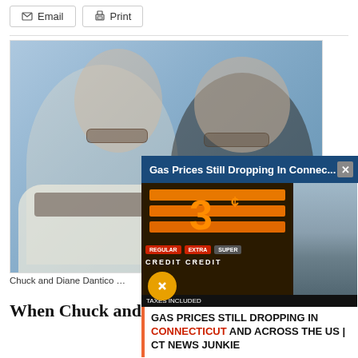[Figure (other): Toolbar with Email and Print buttons at top of page]
[Figure (photo): Photo of Chuck and Diane Dantico (a couple) smiling together indoors with an overlaid ad panel for 'Gas Prices Still Dropping In Connecticut' article showing a gas station sign with CT News Junkie branding]
Chuck and Diane Dantico …
When Chuck and D…